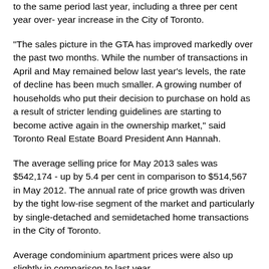to the same period last year, including a three per cent year over- year increase in the City of Toronto.
"The sales picture in the GTA has improved markedly over the past two months. While the number of transactions in April and May remained below last year's levels, the rate of decline has been much smaller. A growing number of households who put their decision to purchase on hold as a result of stricter lending guidelines are starting to become active again in the ownership market," said Toronto Real Estate Board President Ann Hannah.
The average selling price for May 2013 sales was $542,174 - up by 5.4 per cent in comparison to $514,567 in May 2012. The annual rate of price growth was driven by the tight low-rise segment of the market and particularly by single-detached and semidetached home transactions in the City of Toronto.
Average condominium apartment prices were also up slightly in comparison to last year.